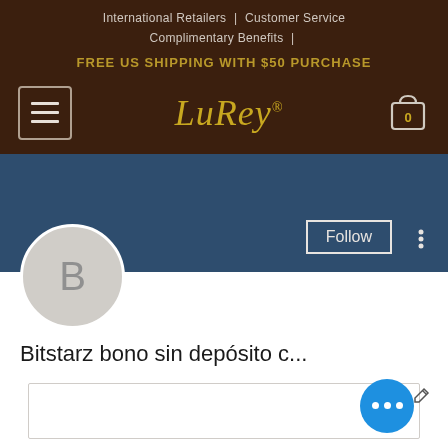International Retailers | Customer Service
Complimentary Benefits |
FREE US SHIPPING WITH $50 PURCHASE
[Figure (logo): LuRey brand logo in gold italic serif font with hamburger menu button on left and shopping bag icon with 0 count on right, on dark brown background]
[Figure (screenshot): Blue header banner with Follow button and three-dot menu icon, overlapping with circular avatar showing letter B below]
Bitstarz bono sin depósito c...
[Figure (other): Empty tab area box with floating blue action button showing three dots and pencil icon]
Profile